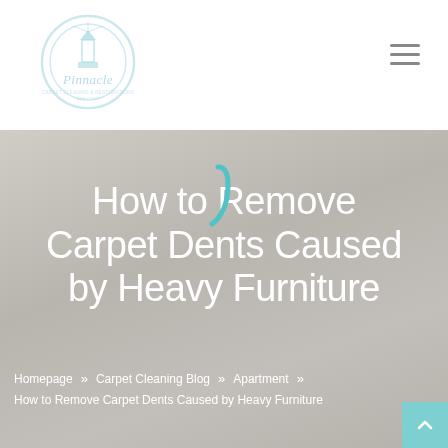[Figure (logo): Pinnacle logo — lighthouse illustration with cursive 'Pinnacle' text in light blue/teal]
[Figure (other): Hamburger menu icon — three horizontal lines in gray]
How to Remove Carpet Dents Caused by Heavy Furniture
Homepage » Carpet Cleaning Blog » Apartment » How to Remove Carpet Dents Caused by Heavy Furniture